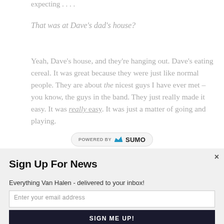expecting . . . .
That was at Dave's dad's house?
Yeah, Dave's house, and they're hanging out. Dave's eating cereal. It was great because they were just like normal people. They are about the nicest guys I have ever met – you know, the guys in the band. They just really made it easy. It was really easy. It was just a matter of going and playing.
[Figure (logo): POWERED BY SUMO logo bar with crown icon]
Sign Up For News
Everything Van Halen - delivered to your inbox!
Enter your email address
SIGN ME UP!